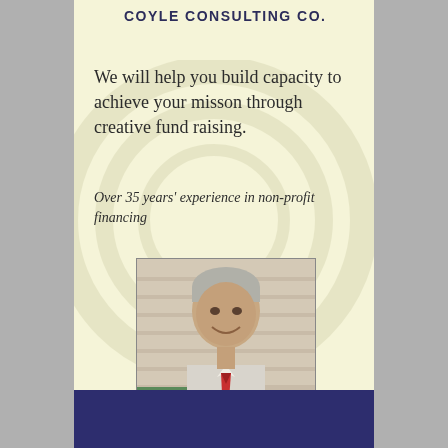COYLE CONSULTING CO.
We will help you build capacity to achieve your misson through creative fund raising.
Over 35 years' experience in non-profit financing
[Figure (photo): Portrait photo of D. Lorne Coyle, a smiling older man with grey hair wearing a white shirt and red tie]
D. Lorne Coyle
D. Lorne Coyle